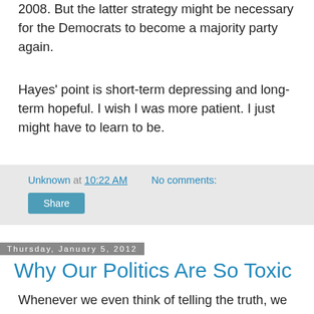2008. But the latter strategy might be necessary for the Democrats to become a majority party again.
Hayes' point is short-term depressing and long-term hopeful. I wish I was more patient. I just might have to learn to be.
Unknown at 10:22 AM    No comments:
Share
Thursday, January 5, 2012
Why Our Politics Are So Toxic
Whenever we even think of telling the truth, we have to prepare for the argument that we're wrong. Recently, I've been reading economics blogs that are obsessed with protecting the anti-Keynesians who don't believe in fiscal stimulus to help lower unemployment and thus repair our economy. Further, these economists believe the problem is supply-side (so, let's help the producers), not demand-side